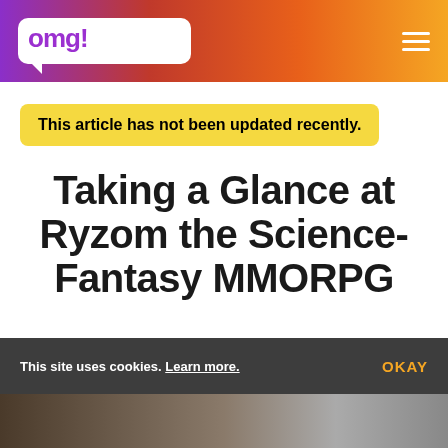omg! ubuntu!
This article has not been updated recently.
Taking a Glance at Ryzom the Science-Fantasy MMORPG
By Benjamin Kerensa · Updated 6 June 2012
This site uses cookies. Learn more. OKAY